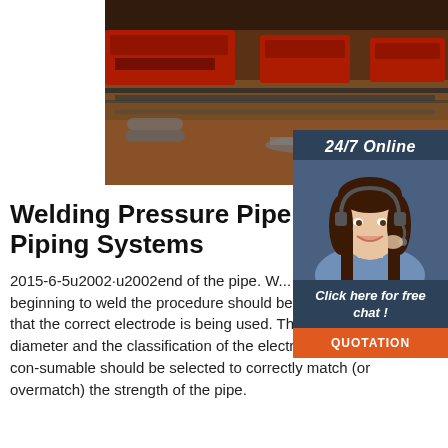[Figure (photo): Industrial factory floor with red CNC pipe cutting machines on rails, workers and piping visible]
[Figure (infographic): 24/7 Online chat widget showing a woman with headset smiling, with 'Click here for free chat!' text and an orange QUOTATION button]
Welding Pressure Pipelines and Piping Systems
2015-6-5u2002·u2002end of the pipe. W... Root Pass Before beginning to weld the procedure should be checked to assure that the correct electrode is being used. This includes the diameter and the classification of the electrode. The welding con-sumable should be selected to correctly match (or overmatch) the strength of the pipe.